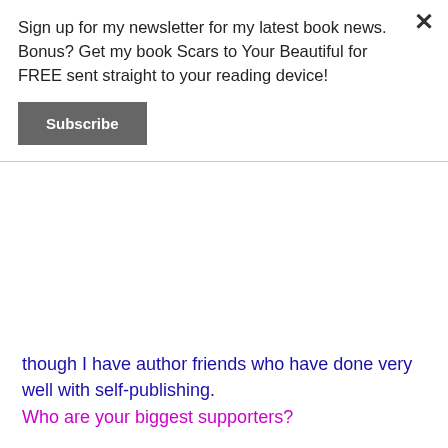[Figure (screenshot): Newsletter signup popup overlay with close X button, text about signing up for newsletter and getting book Scars to Your Beautiful for FREE, and a Subscribe button]
though I have author friends who have done very well with self-publishing.
Who are your biggest supporters?
My hubby—he hands out my business card to all of his clients.
[Figure (screenshot): Cookie consent banner: Privacy & Cookies: This site uses cookies. By continuing to use this website, you agree to their use. To find out more, including how to control cookies, see here: Cookie Policy. With a Close and accept button.]
friends have all been fabulous. I also have a dear friend who beta reads for me. I've been amazed and humbled at the support I've